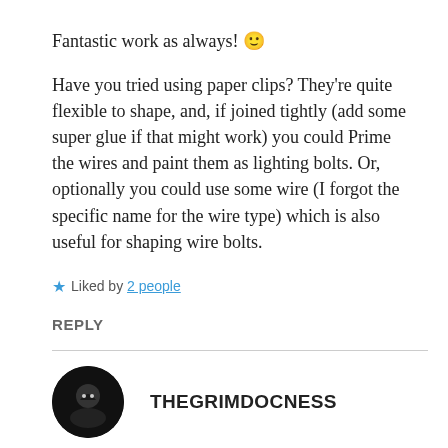Fantastic work as always! 🙂
Have you tried using paper clips? They're quite flexible to shape, and, if joined tightly (add some super glue if that might work) you could Prime the wires and paint them as lighting bolts. Or, optionally you could use some wire (I forgot the specific name for the wire type) which is also useful for shaping wire bolts.
★ Liked by 2 people
REPLY
THEGRIMDOCNESS